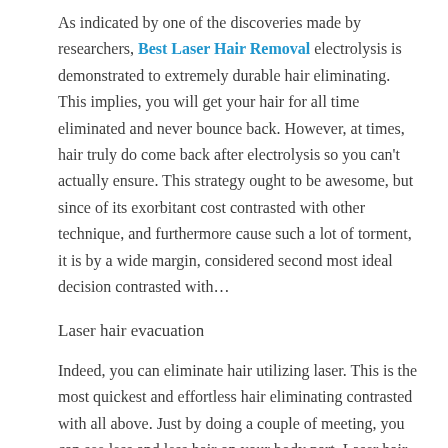As indicated by one of the discoveries made by researchers, Best Laser Hair Removal electrolysis is demonstrated to extremely durable hair eliminating. This implies, you will get your hair for all time eliminated and never bounce back. However, at times, hair truly do come back after electrolysis so you can't actually ensure. This strategy ought to be awesome, but since of its exorbitant cost contrasted with other technique, and furthermore cause such a lot of torment, it is by a wide margin, considered second most ideal decision contrasted with...
Laser hair evacuation
Indeed, you can eliminate hair utilizing laser. This is the most quickest and effortless hair eliminating contrasted with all above. Just by doing a couple of meeting, you can see less and less hair on your body part. Laser hair remover can decrease hair, yet not for all time. Over the long haul, your hair will come back, yet all the same diminished in number. Besides, the